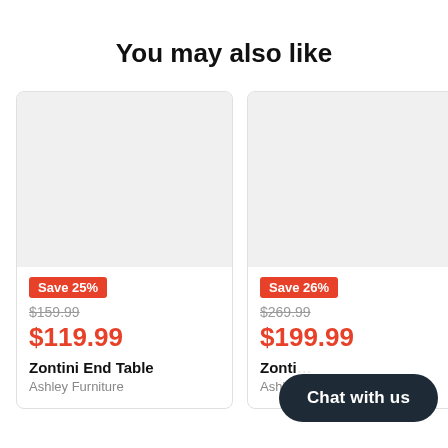You may also like
[Figure (screenshot): Product card showing a gray placeholder image, Save 25% badge, original price $159.99 struck through, sale price $119.99 in red, product name Zontini End Table, brand Ashley Furniture]
[Figure (screenshot): Partially visible product card showing a gray placeholder image, Save 26% badge, original price $269.99 struck through, sale price $199.99 in red, product name Zonti... (truncated), brand Ashl... (truncated), with Chat with us button overlay]